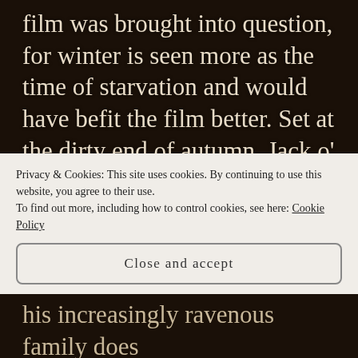film was brought into question, for winter is seen more as the time of starvation and would have befit the film better. Set at the dirty end of autumn, Jack o' Lanterns still on display rather than Christmas decorations, there is a chill in the air and damp a plenty, which does certainly add to the bleak atmosphere, but a wintry setting would perhaps represent desperate hunger more
Privacy & Cookies: This site uses cookies. By continuing to use this website, you agree to their use. To find out more, including how to control cookies, see here: Cookie Policy
Close and accept
his increasingly ravenous family does